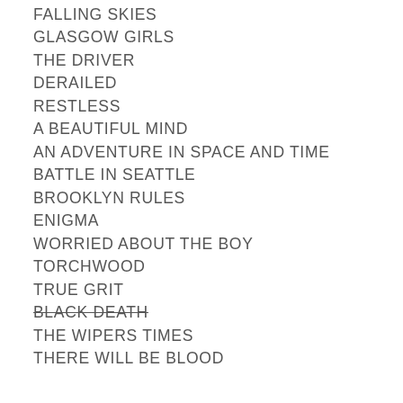ORPHAN BLACK
FALLING SKIES
GLASGOW GIRLS
THE DRIVER
DERAILED
RESTLESS
A BEAUTIFUL MIND
AN ADVENTURE IN SPACE AND TIME
BATTLE IN SEATTLE
BROOKLYN RULES
ENIGMA
WORRIED ABOUT THE BOY
TORCHWOOD
TRUE GRIT
BLACK DEATH (strikethrough)
THE WIPERS TIMES
THERE WILL BE BLOOD